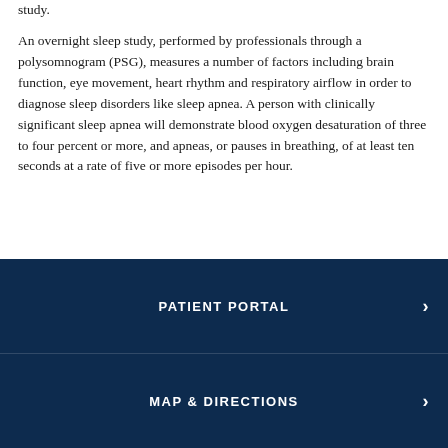study.
An overnight sleep study, performed by professionals through a polysomnogram (PSG), measures a number of factors including brain function, eye movement, heart rhythm and respiratory airflow in order to diagnose sleep disorders like sleep apnea. A person with clinically significant sleep apnea will demonstrate blood oxygen desaturation of three to four percent or more, and apneas, or pauses in breathing, of at least ten seconds at a rate of five or more episodes per hour.
PATIENT PORTAL
MAP & DIRECTIONS